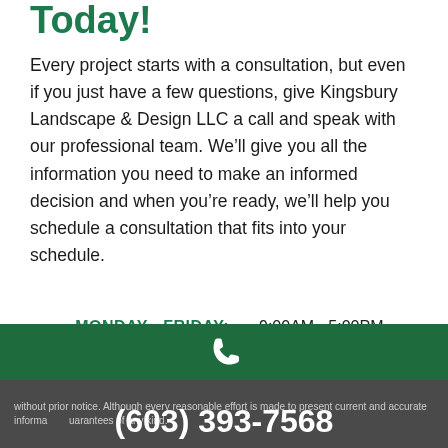Today!
Every project starts with a consultation, but even if you just have a few questions, give Kingsbury Landscape & Design LLC a call and speak with our professional team. We'll give you all the information you need to make an informed decision and when you're ready, we'll help you schedule a consultation that fits into your schedule.
MONDAY - FRIDAY:   9:00AM - 5:00PM
SATURDAY - SUNDAY:   Closed
without prior notice. Although every reasonable effort is made to present current and accurate informa... uarantees of any kind.
(603) 393-7568